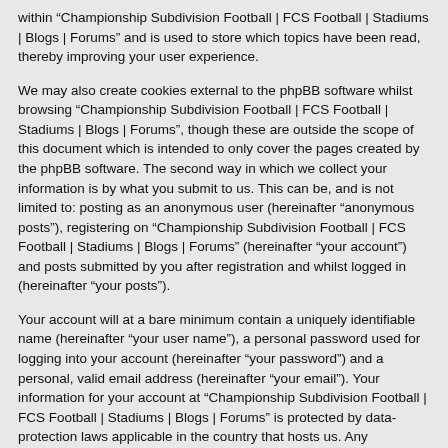within “Championship Subdivision Football | FCS Football | Stadiums | Blogs | Forums” and is used to store which topics have been read, thereby improving your user experience.
We may also create cookies external to the phpBB software whilst browsing “Championship Subdivision Football | FCS Football | Stadiums | Blogs | Forums”, though these are outside the scope of this document which is intended to only cover the pages created by the phpBB software. The second way in which we collect your information is by what you submit to us. This can be, and is not limited to: posting as an anonymous user (hereinafter “anonymous posts”), registering on “Championship Subdivision Football | FCS Football | Stadiums | Blogs | Forums” (hereinafter “your account”) and posts submitted by you after registration and whilst logged in (hereinafter “your posts”).
Your account will at a bare minimum contain a uniquely identifiable name (hereinafter “your user name”), a personal password used for logging into your account (hereinafter “your password”) and a personal, valid email address (hereinafter “your email”). Your information for your account at “Championship Subdivision Football | FCS Football | Stadiums | Blogs | Forums” is protected by data-protection laws applicable in the country that hosts us. Any information beyond your user name, your password, and your email address required by “Championship Subdivision Football | FCS Football | Stadiums | Blogs | Forums” during the registration process is either mandatory or optional, at the discretion of “Championship Subdivision Football | FCS Football | Stadiums | Blogs | Forums”. In all cases, you have the option of what information in your account is publicly displayed. Furthermore, within your account, you have the option to opt-